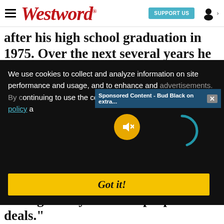Westword — SUPPORT US
after his high school graduation in 1975. Over the next several years he dabbled in everything from restaurants to roofing to antiques
We use cookies to collect and analyze information on site performance and usage, and to enhance and advertisements. By continuing to use the cookies to be placed our cookies policy a
Sponsored Content - Bud Black on extra... ×
Got it!
he of
raising money for other people's deals."